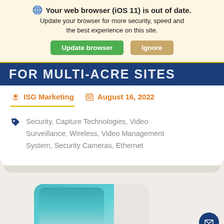Your web browser (iOS 11) is out of date. Update your browser for more security, speed and the best experience on this site. Update browser | Ignore
FOR MULTI-ACRE SITES
ISG Marketing   August 16, 2022
Security, Capture Technologies, Video Surveillance, Wireless, Video Management System, Security Cameras, Ethernet
[Figure (photo): Partial photo of a person in teal/green clothing at bottom of page]